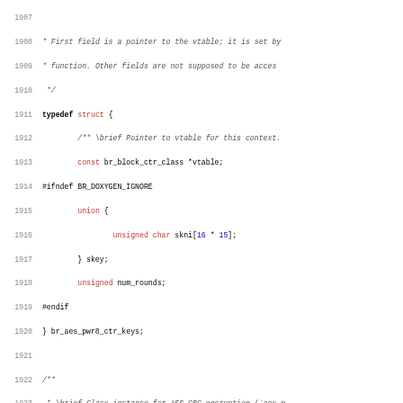Source code listing lines 1908-1939, C header file with typedef struct for br_aes_pwr8_ctr_keys and extern declarations for br_block_cbcenc_class and br_block_cbcdec_class